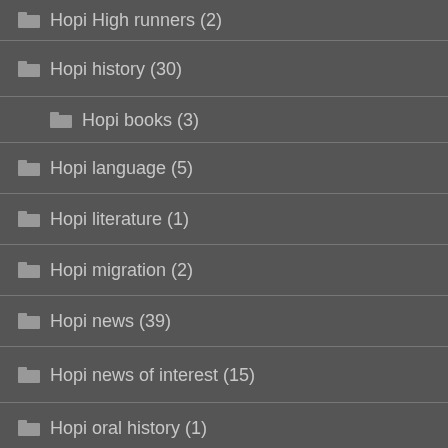Hopi High runners (2)
Hopi history (30)
Hopi books (3)
Hopi language (5)
Hopi literature (1)
Hopi migration (2)
Hopi news (39)
Hopi news of interest (15)
Hopi oral history (1)
Hopi photography (9)